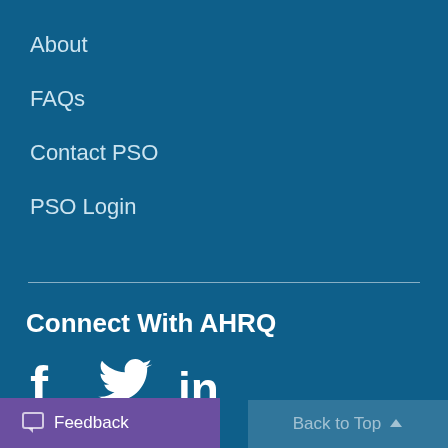About
FAQs
Contact PSO
PSO Login
Connect With AHRQ
[Figure (infographic): Social media icons: Facebook, Twitter, LinkedIn]
Feedback
Back to Top